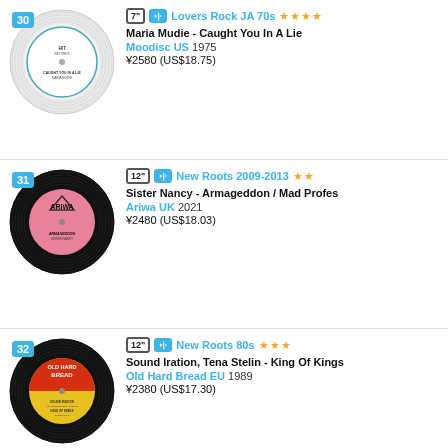30 | 7" | Lovers Rock JA 70s ★★★★ | Maria Mudie - Caught You In A Lie | Moodisc US 1975 | ¥2580 (US$18.75)
31 | 12" | New Roots 2009-2013 ★★ | Sister Nancy - Armageddon / Mad Profes... | Ariwa UK 2021 | ¥2480 (US$18.03)
32 | 12" | New Roots 80s ★★★ | Sound Iration, Tena Stelin - King Of Kings... | Old Hard Bread EU 1989 | ¥2380 (US$17.30)